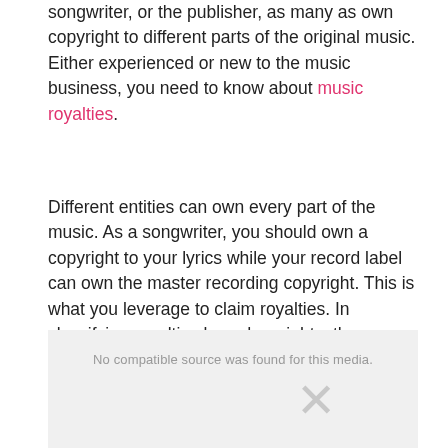songwriter, or the publisher, as many as own copyright to different parts of the original music. Either experienced or new to the music business, you need to know about music royalties.
Different entities can own every part of the music. As a songwriter, you should own a copyright to your lyrics while your record label can own the master recording copyright. This is what you leverage to claim royalties. In classifying royalties based on rights, there are two major categories. You can either own a master right to a song or a publishing right. Based on these rights, you can either earn master royalties or publishing royalties.
[Figure (other): Video player placeholder showing 'No compatible source was found for this media' error message with an X icon]